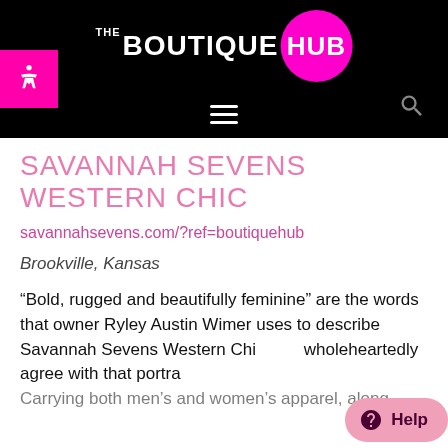THE BOUTIQUE HUB
SAVANNAH SEVENS WESTERN CHIC
savannahsevens.com/?ref=boutiquehub
Brookville, Kansas
“Bold, rugged and beautifully feminine” are the words that owner Ryley Austin Wimer uses to describe Savannah Sevens Western Chic. We wholeheartedly agree with that portrayal. Carrying both men’s and women’s apparel, along